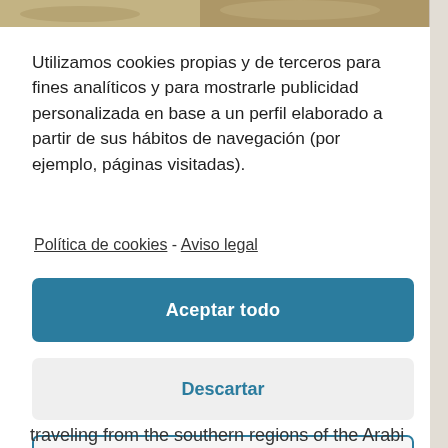[Figure (photo): Partial view of a sandy/rocky landscape photo at the top of the page, partially obscured by a cookie consent overlay]
Utilizamos cookies propias y de terceros para fines analíticos y para mostrarle publicidad personalizada en base a un perfil elaborado a partir de sus hábitos de navegación (por ejemplo, páginas visitadas).
Política de cookies -  Aviso legal
Aceptar todo
Descartar
Preferencias
traveling from the southern regions of the Arabian